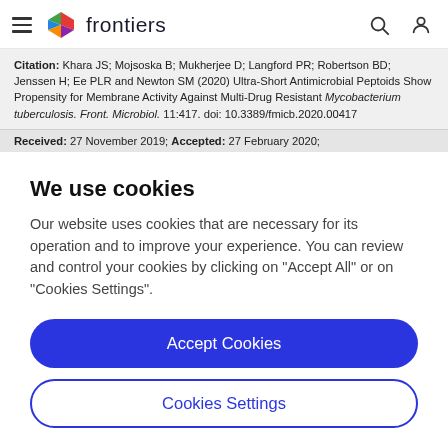frontiers
Citation: Khara JS; Mojsoska B; Mukherjee D; Langford PR; Robertson BD; Jenssen H; Ee PLR and Newton SM (2020) Ultra-Short Antimicrobial Peptoids Show Propensity for Membrane Activity Against Multi-Drug Resistant Mycobacterium tuberculosis. Front. Microbiol. 11:417. doi: 10.3389/fmicb.2020.00417
Received: 27 November 2019; Accepted: 27 February 2020;
We use cookies
Our website uses cookies that are necessary for its operation and to improve your experience. You can review and control your cookies by clicking on "Accept All" or on "Cookies Settings".
Accept Cookies
Cookies Settings